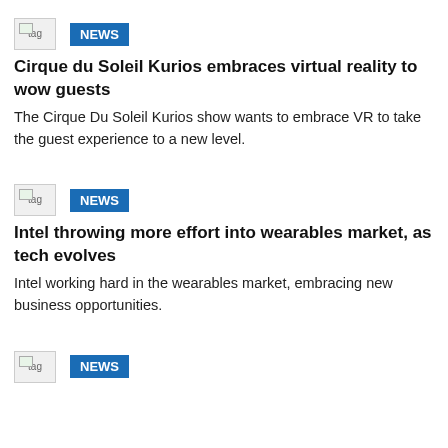[Figure (other): Tag image placeholder]
NEWS
Cirque du Soleil Kurios embraces virtual reality to wow guests
The Cirque Du Soleil Kurios show wants to embrace VR to take the guest experience to a new level.
[Figure (other): Tag image placeholder]
NEWS
Intel throwing more effort into wearables market, as tech evolves
Intel working hard in the wearables market, embracing new business opportunities.
[Figure (other): Tag image placeholder]
NEWS